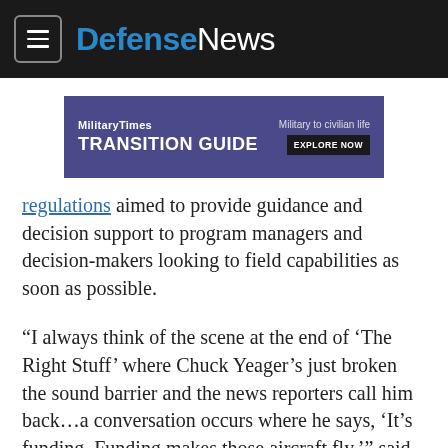DefenseNews
[Figure (other): MilitaryTimes Transition Guide advertisement banner with text 'Military to civilian life' and 'EXPLORE NOW' button]
[link] ...aimed to provide guidance and decision support to program managers and decision-makers looking to field capabilities as soon as possible.
“I always think of the scene at the end of ‘The Right Stuff’ where Chuck Yeager’s just broken the sound barrier and the news reporters call him back…a conversation occurs where he says, ‘It’s funding. Funding makes those aircraft fly,’” said Col. Joe Capobianco, Army RCO chief of staff. Lawmakers maintain